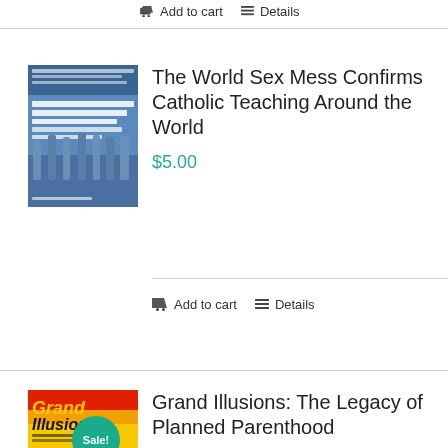Add to cart  Details
[Figure (illustration): Book cover: The World Sex Mess Confirms Catholic Teaching Around the World — blue cover with statues]
The World Sex Mess Confirms Catholic Teaching Around the World
$5.00
Add to cart  Details
[Figure (illustration): Book cover: Grand Illusions: The Legacy of Planned Parenthood — red/yellow cover with Grand Illusions text, Sale! badge]
Grand Illusions: The Legacy of Planned Parenthood
$14.95  $5.00